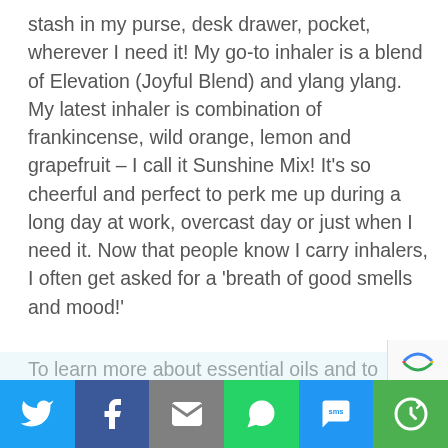stash in my purse, desk drawer, pocket, wherever I need it! My go-to inhaler is a blend of Elevation (Joyful Blend) and ylang ylang. My latest inhaler is combination of frankincense, wild orange, lemon and grapefruit – I call it Sunshine Mix! It's so cheerful and perfect to perk me up during a long day at work, overcast day or just when I need it. Now that people know I carry inhalers, I often get asked for a 'breath of good smells and mood!'
To learn more about essential oils and to order, click here.
[Figure (infographic): Social sharing bar with six buttons: Twitter (blue bird icon), Facebook (dark blue f icon), Email (grey envelope icon), WhatsApp (green chat icon), SMS (blue SMS bubble icon), More (green circular arrows icon)]